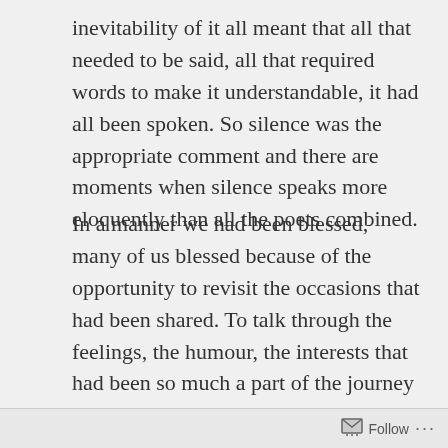inevitability of it all meant that all that needed to be said, all that required words to make it understandable, it had all been spoken. So silence was the appropriate comment and there are moments when silence speaks more eloquently than all the poets combined.
In a manner we had been blessed, many of us blessed because of the opportunity to revisit the occasions that had been shared. To talk through the feelings, the humour, the interests that had been so much a part of the journey taken together. Opportunity to ponder the things that will long be valued. To listen to the account of a life well lived. The tales of travel. The adventures. It was a privileged time. One that many who shared those last days will hold onto and cherish. They are lessons to tell...
Follow